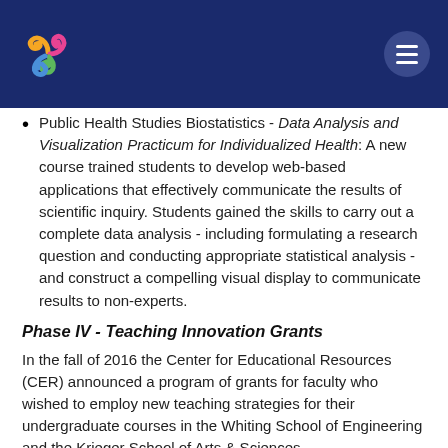Public Health Studies Biostatistics - Data Analysis and Visualization Practicum for Individualized Health: A new course trained students to develop web-based applications that effectively communicate the results of scientific inquiry. Students gained the skills to carry out a complete data analysis - including formulating a research question and conducting appropriate statistical analysis - and construct a compelling visual display to communicate results to non-experts.
Phase IV - Teaching Innovation Grants
In the fall of 2016 the Center for Educational Resources (CER) announced a program of grants for faculty who wished to employ new teaching strategies for their undergraduate courses in the Whiting School of Engineering and the Krieger School of Arts & Sciences.